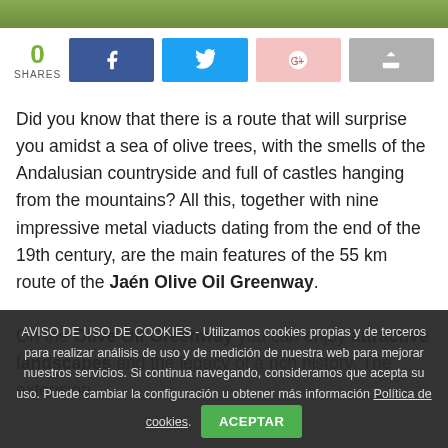[Figure (photo): Image strip at top of page showing olive trees or Andalusian landscape]
0
SHARES
Did you know that there is a route that will surprise you amidst a sea of olive trees, with the smells of the Andalusian countryside and full of castles hanging from the mountains? All this, together with nine impressive metal viaducts dating from the end of the 19th century, are the main features of the 55 km route of the Jaén Olive Oil Greenway.
On the Olive Oil Greenway you can enjoy attractive landscapes and the legacy of a rich history. The extension
AVISO DE USO DE COOKIES - Utilizamos cookies propias y de terceros para realizar análisis de uso y de medición de nuestra web para mejorar nuestros servicios. Si continua navegando, consideramos que acepta su uso. Puede cambiar la configuración u obtener más información Política de cookies. ACEPTAR